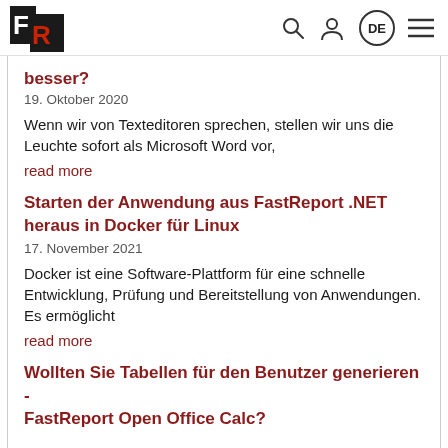FR logo, search icon, user icon, DE language selector, menu icon
besser?
19. Oktober 2020
Wenn wir von Texteditoren sprechen, stellen wir uns die Leuchte sofort als Microsoft Word vor,
read more
Starten der Anwendung aus FastReport .NET heraus in Docker für Linux
17. November 2021
Docker ist eine Software-Plattform für eine schnelle Entwicklung, Prüfung und Bereitstellung von Anwendungen. Es ermöglicht
read more
Wollten Sie Tabellen für den Benutzer generieren - FastReport Open Office Calc?